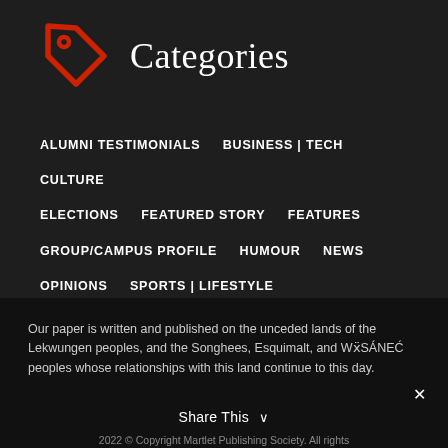[Figure (illustration): Red price tag icon outline on dark background]
Categories
ALUMNI TESTIMONIALS
BUSINESS | TECH
CULTURE
ELECTIONS
FEATURED STORY
FEATURES
GROUP/CAMPUS PROFILE
HUMOUR
NEWS
OPINIONS
SPORTS | LIFESTYLE
UNCATEGORIZED
VIDEO
Our paper is written and published on the unceded lands of the Lekwungen peoples, and the Songhees, Esquimalt, and WSÁNEĆ peoples whose relationships with this land continue to this day.
Share This ∨
2022 © Copyright Martlet Publishing Society. All rights